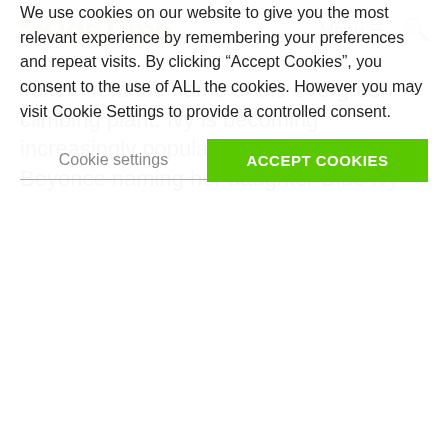My KidsTime — Menu (hamburger icon) — Search (magnifying glass icon)
Taken from the name of the evergreen climbing plant, Ivy is becoming increasingly popular, not least due to Beyonce naming her daughter Blue Ivy
We use cookies on our website to give you the most relevant experience by remembering your preferences and repeat visits. By clicking “Accept Cookies”, you consent to the use of ALL the cookies. However you may visit Cookie Settings to provide a controlled consent.
Cookie settings | ACCEPT COOKIES